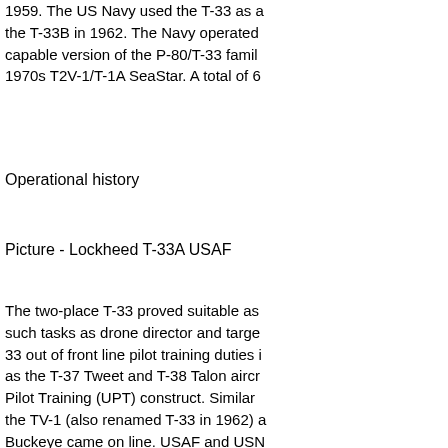1959. The US Navy used the T-33 as a... the T-33B in 1962. The Navy operated... capable version of the P-80/T-33 family... 1970s T2V-1/T-1A SeaStar. A total of 6...
Operational history
Picture - Lockheed T-33A USAF
The two-place T-33 proved suitable as... such tasks as drone director and targe... 33 out of front line pilot training duties... as the T-37 Tweet and T-38 Talon aircr... Pilot Training (UPT) construct. Similar... the TV-1 (also renamed T-33 in 1962)... Buckeye came on line. USAF and USN... and 1980s with USAF and USN as utili... the former USN aircraft being expende... air missile tests from naval vessels. Se... Delta Dart units, to include similarly eq... trainers and practice "bogey" aircraft. C... and F-4 Phantom II units in a similar ro...
Some T-33s retained two machine gun... combat aircraft: the Cuban Air Force u... reconnaissance aircraft produced prim... equipment in the rear cockpit. T-33s c...